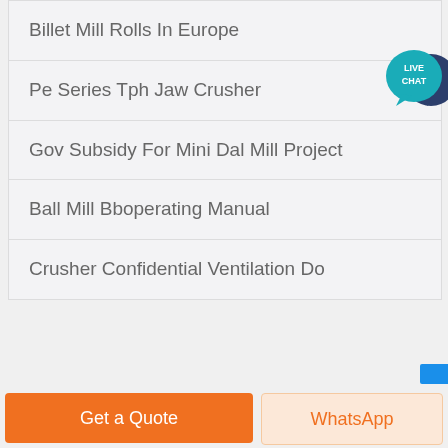Billet Mill Rolls In Europe
Pe Series Tph Jaw Crusher
Gov Subsidy For Mini Dal Mill Project
Ball Mill Bboperating Manual
Crusher Confidential Ventilation Do
[Figure (illustration): Live Chat speech bubble icon in teal/dark blue colors with text LIVE CHAT]
Get a Quote
WhatsApp